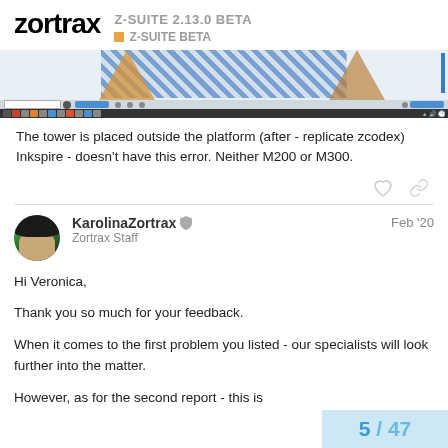zortrax Z-SUITE 2.13.0 BETA Z-SUITE BETA
[Figure (screenshot): Screenshot of Z-Suite software showing a 3D model with blue diamond pattern on a print platform, with taskbar and toolbar visible]
The tower is placed outside the platform (after - replicate zcodex)
Inkspire - doesn't have this error. Neither M200 or M300.
KarolinaZortrax Zortrax Staff Feb '20
Hi Veronica,

Thank you so much for your feedback.

When it comes to the first problem you listed - our specialists will look further into the matter.

However, as for the second report - this is
5 / 47